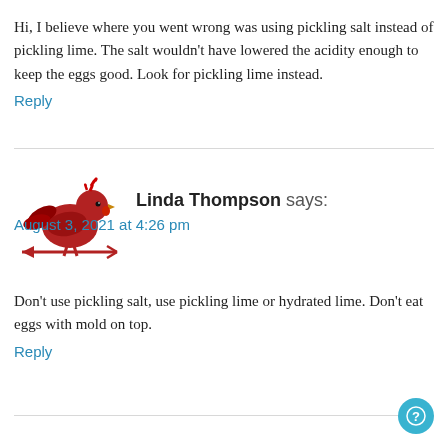Hi, I believe where you went wrong was using pickling salt instead of pickling lime. The salt wouldn't have lowered the acidity enough to keep the eggs good. Look for pickling lime instead.
Reply
[Figure (illustration): Red rooster weather vane icon — a stylized red rooster perched on an arrow pointing left, used as a commenter avatar for Linda Thompson]
Linda Thompson says:
August 3, 2021 at 4:26 pm
Don't use pickling salt, use pickling lime or hydrated lime. Don't eat eggs with mold on top.
Reply